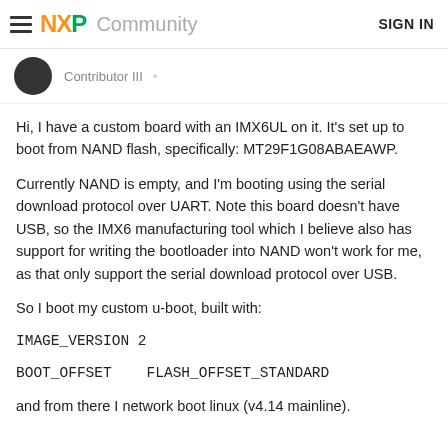NXP Community  SIGN IN
Contributor III
Hi, I have a custom board with an IMX6UL on it. It's set up to boot from NAND flash, specifically: MT29F1G08ABAEAWP.
Currently NAND is empty, and I'm booting using the serial download protocol over UART. Note this board doesn't have USB, so the IMX6 manufacturing tool which I believe also has support for writing the bootloader into NAND won't work for me, as that only support the serial download protocol over USB.
So I boot my custom u-boot, built with:
IMAGE_VERSION 2
BOOT_OFFSET    FLASH_OFFSET_STANDARD
and from there I network boot linux (v4.14 mainline).